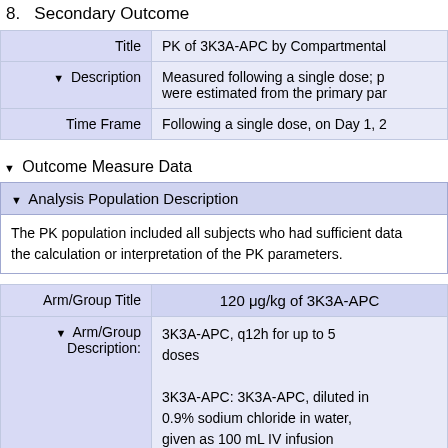8. Secondary Outcome
| Label | Value |
| --- | --- |
| Title | PK of 3K3A-APC by Compartmental |
| Description | Measured following a single dose; p were estimated from the primary par |
| Time Frame | Following a single dose, on Day 1, 2 |
▼ Outcome Measure Data
▼ Analysis Population Description
The PK population included all subjects who had sufficient data the calculation or interpretation of the PK parameters.
| Label | Value |
| --- | --- |
| Arm/Group Title | 120 μg/kg of 3K3A-APC |
| ▼ Arm/Group Description: | 3K3A-APC, q12h for up to 5 doses

3K3A-APC: 3K3A-APC, diluted in 0.9% sodium chloride in water, given as 100 mL IV infusion |